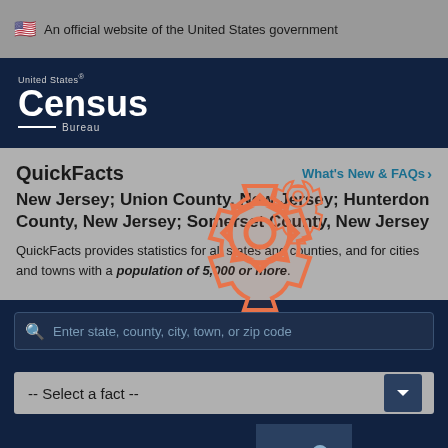An official website of the United States government
[Figure (logo): United States Census Bureau logo in white on navy background]
QuickFacts
What's New & FAQs >
New Jersey; Union County, New Jersey; Hunterdon County, New Jersey; Somerset County, New Jersey
QuickFacts provides statistics for all states and counties, and for cities and towns with a population of 5,000 or more.
Enter state, county, city, town, or zip code
-- Select a fact --
[Figure (illustration): Orange gear/settings icon overlay]
CLEAR
TABLE 4
MORE